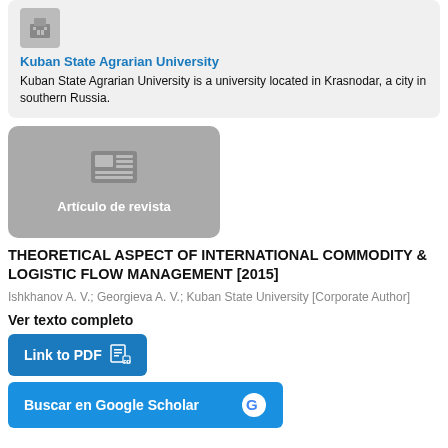[Figure (illustration): Kuban State Agrarian University logo/thumbnail (grey box)]
Kuban State Agrarian University
Kuban State Agrarian University is a university located in Krasnodar, a city in southern Russia.
[Figure (illustration): Artículo de revista thumbnail — grey card with newspaper icon]
THEORETICAL ASPECT OF INTERNATIONAL COMMODITY & LOGISTIC FLOW MANAGEMENT [2015]
Ishkhanov A. V.; Georgieva A. V.; Kuban State University [Corporate Author]
Ver texto completo
Link to PDF
Buscar en Google Scholar